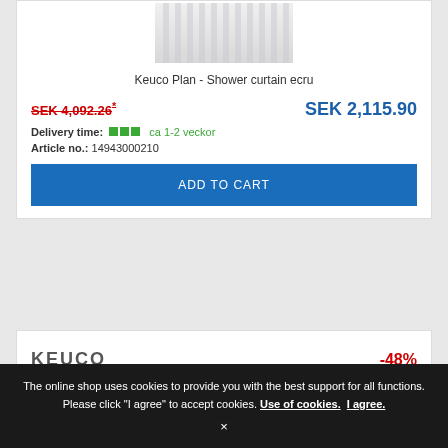[Figure (photo): Shower curtain product image — vertical stripes in light grey/white, partially visible at top of product card]
Keuco Plan - Shower curtain ecru
SEK 4,092.26*
SEK 2,115.90
Delivery time: ca 1-2 veckor
Article no.: 14943000210
ADD TO CART
[Figure (logo): KEUCO logo in grey text]
-48%
The online shop uses cookies to provide you with the best support for all functions. Please click "I agree" to accept cookies. Use of cookies. I agree.
×